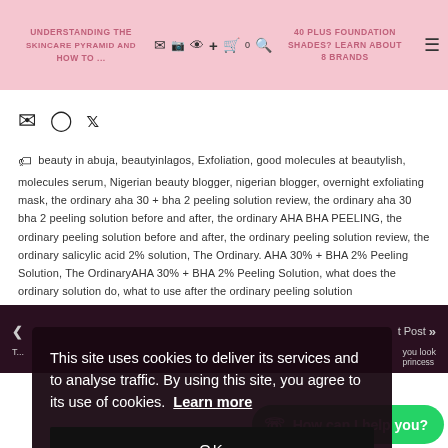UNDERSTANDING THE SKINCARE PYRAMID AND HOW TO ... | 40 PLUS FOUNDATION SHADES? LEARN ABOUT 8 BRANDS
[Figure (screenshot): Social share icons: email, Facebook, Twitter]
beauty in abuja, beautyinlagos, Exfoliation, good molecules at beautylish, molecules serum, Nigerian beauty blogger, nigerian blogger, overnight exfoliating mask, the ordinary aha 30 + bha 2 peeling solution review, the ordinary aha 30 bha 2 peeling solution before and after, the ordinary AHA BHA PEELING, the ordinary peeling solution before and after, the ordinary peeling solution review, the ordinary salicylic acid 2% solution, The Ordinary. AHA 30% + BHA 2% Peeling Solution, The OrdinaryAHA 30% + BHA 2% Peeling Solution, what does the ordinary solution do, what to use after the ordinary peeling solution
[Figure (screenshot): Cookie consent overlay with text: This site uses cookies to deliver its services and to analyse traffic. By using this site, you agree to its use of cookies. Learn more. OK button. WhatsApp chat button: How can I help you?]